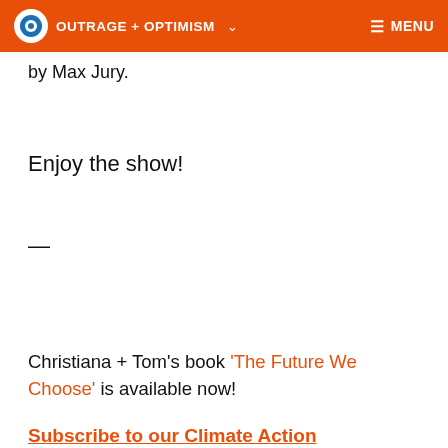OUTRAGE + OPTIMISM  MENU
by Max Jury.
Enjoy the show!
—
Christiana + Tom's book 'The Future We Choose' is available now!
Subscribe to our Climate Action Newsletter!